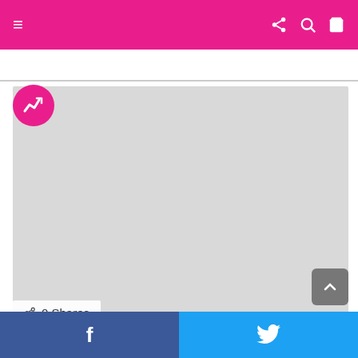DON'T MISS
[Figure (screenshot): Article thumbnail image placeholder (grey rectangle) with a trending badge (pink circle with white arrow/N icon) in the top-left corner]
0 Shares
Do you own, or are you thinking of buying a Tommee Tippee Perfect Prep Machine?
by admin • 5 years ago